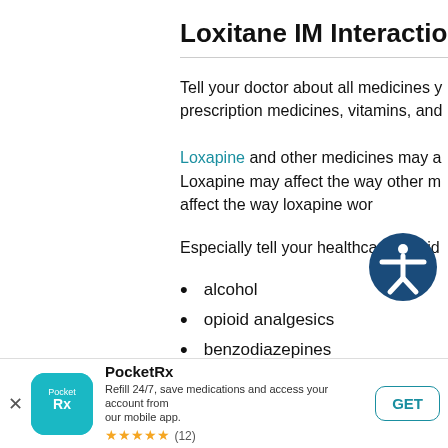Loxitane IM Interactions
Tell your doctor about all medicines you use, including prescription medicines, vitamins, and herbal products.
Loxapine and other medicines may affect each other. Loxapine may affect the way other medicines work, and other medicines may affect the way loxapine works.
Especially tell your healthcare provider if you take:
alcohol
opioid analgesics
benzodiazepines
[Figure (other): PocketRx app promotional banner with app icon, description text, star ratings (12 reviews), and GET button]